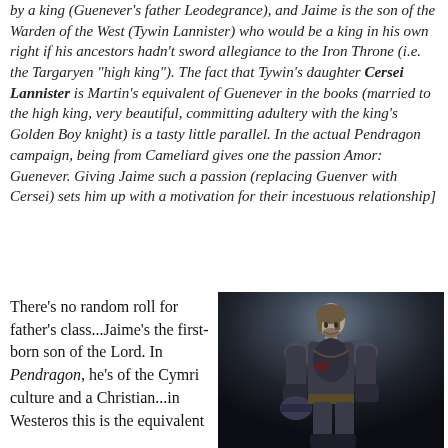by a king (Guenever's father Leodegrance), and Jaime is the son of the Warden of the West (Tywin Lannister) who would be a king in his own right if his ancestors hadn't sword allegiance to the Iron Throne (i.e. the Targaryen "high king"). The fact that Tywin's daughter Cersei Lannister is Martin's equivalent of Guenever in the books (married to the high king, very beautiful, committing adultery with the king's Golden Boy knight) is a tasty little parallel. In the actual Pendragon campaign, being from Cameliard gives one the passion Amor: Guenever. Giving Jaime such a passion (replacing Guenver with Cersei) sets him up with a motivation for their incestuous relationship]
There's no random roll for father's class...Jaime's the first-born son of the Lord. In Pendragon, he's of the Cymri culture and a Christian...in Westeros this is the equivalent
[Figure (photo): Photo of a knight in dark armor holding a helmet, shown in a dramatic dark background, resembling a Game of Thrones character (Jaime Lannister).]